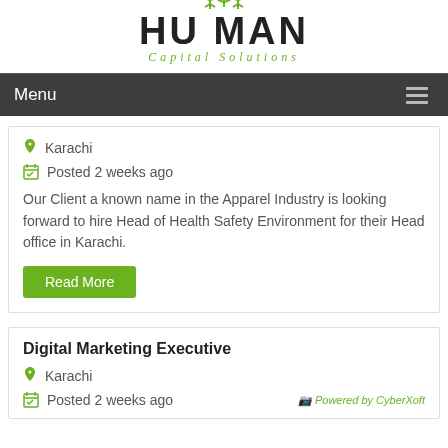[Figure (logo): Human Capital Solutions logo — black bold uppercase HUMAN text with green stick-figure people above, green italic Capital Solutions subtitle]
Menu
Karachi
Posted 2 weeks ago
Our Client a known name in the Apparel Industry is looking forward to hire Head of Health Safety Environment for their Head office in Karachi.
Read More
Digital Marketing Executive
Karachi
Posted 2 weeks ago
[Figure (logo): Powered by CyberXoft badge]